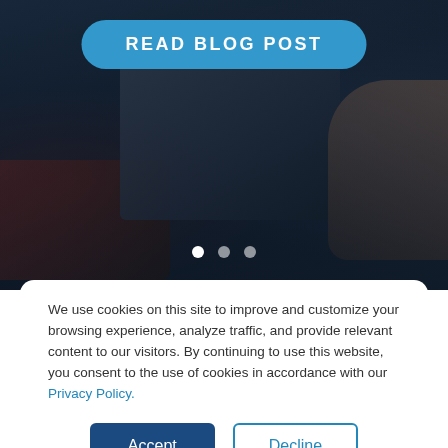[Figure (screenshot): Dark hero image showing a person working on a laptop in a dim environment, with a blue rounded 'READ BLOG POST' button overlaid at the top center, and three slider navigation dots near the bottom of the image.]
We use cookies on this site to improve and customize your browsing experience, analyze traffic, and provide relevant content to our visitors. By continuing to use this website, you consent to the use of cookies in accordance with our Privacy Policy.
Accept
Decline